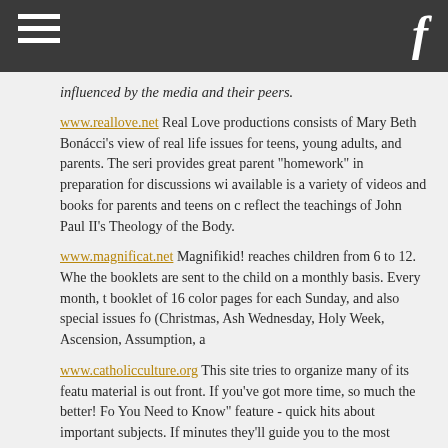influenced by the media and their peers.
www.reallove.net Real Love productions consists of Mary Beth Bonacci's view of real life issues for teens, young adults, and parents. The series provides great parent "homework" in preparation for discussions with teens. Also available is a variety of videos and books for parents and teens on chastity that reflect the teachings of John Paul II's Theology of the Body.
www.magnificat.net Magnifikid! reaches children from 6 to 12. When you subscribe, the booklets are sent to the child on a monthly basis. Every month, they receive a booklet of 16 color pages for each Sunday, and also special issues for feast days (Christmas, Ash Wednesday, Holy Week, Ascension, Assumption, and All Saints).
www.catholicculture.org This site tries to organize many of its features so the key material is out front. If you've got more time, so much the better! For the busiest is "What You Need to Know" feature - quick hits about important subjects. If you've only got five minutes they'll guide you to the most important things to read. They review thousands of web sites annually to let you know what's out there - both what to look for and avoid. If you want to learn more about your Catholic Faith - it's doctrine, history and what's going on in the Church today - this is the site for you!
www.wau.org The Word Among Us is a monthly devotional magazine...